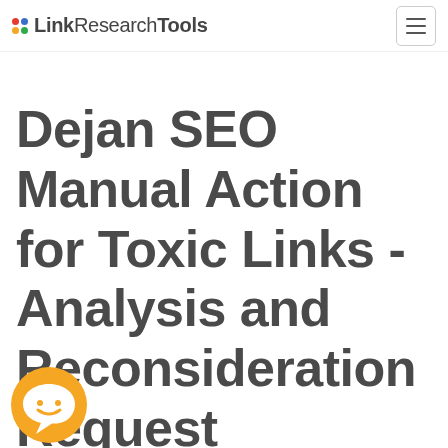LinkResearchTools [hamburger menu]
Dejan SEO Manual Action for Toxic Links - Analysis and Reconsideration Request